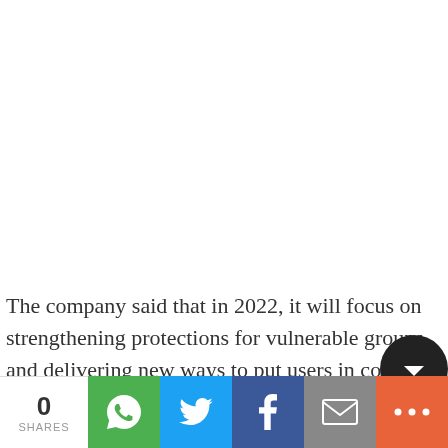The company said that in 2022, it will focus on strengthening protections for vulnerable groups and delivering new ways to put users in control of their a…
[Figure (other): Social sharing bar at bottom with share count (0 SHARES), WhatsApp, Twitter, Facebook, Email, and More buttons, plus a partially visible dark circular back-to-top button]